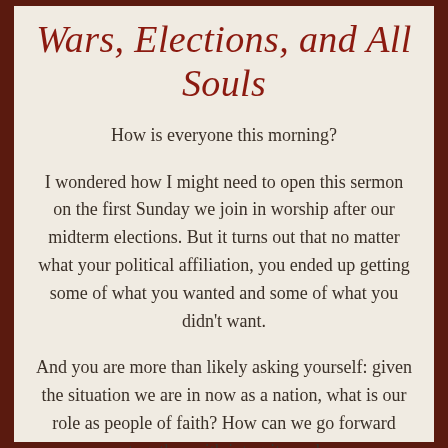Wars, Elections, and All Souls
How is everyone this morning?
I wondered how I might need to open this sermon on the first Sunday we join in worship after our midterm elections. But it turns out that no matter what your political affiliation, you ended up getting some of what you wanted and some of what you didn't want.
And you are more than likely asking yourself: given the situation we are in now as a nation, what is our role as people of faith? How can we go forward together with integrity and